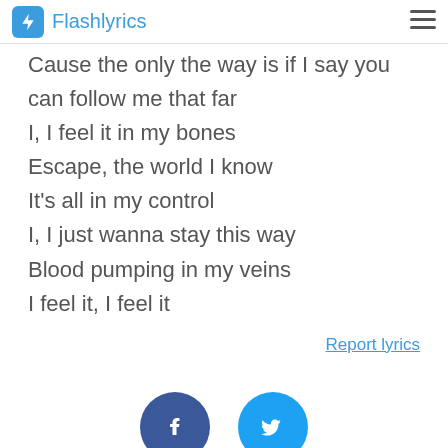Flashlyrics
Cause the only the way is if I say you can follow me that far
I, I feel it in my bones
Escape, the world I know
It's all in my control
I, I just wanna stay this way
Blood pumping in my veins
I feel it, I feel it
Report lyrics
[Figure (illustration): Facebook and Twitter social share buttons (circular icons, partially visible at bottom)]